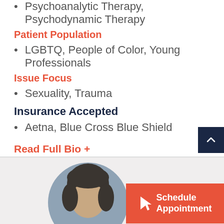Psychoanalytic Therapy, Psychodynamic Therapy
Patient Population
LGBTQ, People of Color, Young Professionals
Issue Focus
Sexuality, Trauma
Insurance Accepted
Aetna, Blue Cross Blue Shield
Read Full Bio +
[Figure (photo): Circular profile photo of a therapist with dark hair, partially visible, on a gray background. Below the photo is a coral/red 'Schedule Appointment' button with a cursor icon.]